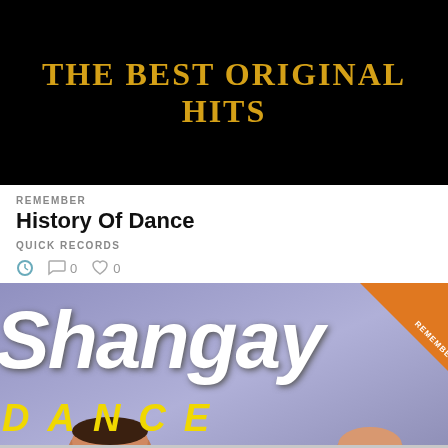[Figure (photo): Black background banner with golden/yellow bold serif text reading 'THE BEST ORIGINAL HITS']
REMEMBER
History Of Dance
QUICK RECORDS
0  0
[Figure (photo): Album cover for Shangay Dance Express showing large white italic 'Shangay' text, orange diagonal ribbon with 'REMEMBER' text, yellow italic 'DANCE' text, and 'express' text at bottom with people's faces visible]